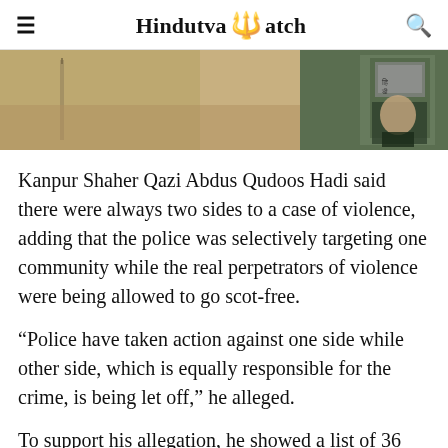Hindutva Watch
[Figure (photo): Outdoor wall with a political poster visible on the right side showing a man's face with text in Hindi/Devanagari script]
Kanpur Shaher Qazi Abdus Qudoos Hadi said there were always two sides to a case of violence, adding that the police was selectively targeting one community while the real perpetrators of violence were being allowed to go scot-free.
“Police have taken action against one side while other side, which is equally responsible for the crime, is being let off,” he alleged.
To support his allegation, he showed a list of 36 people named in the FIRs. All of them belong to